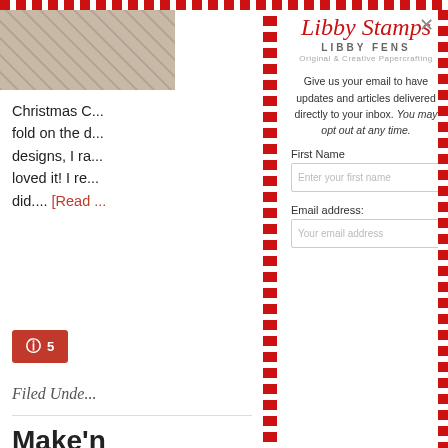[Figure (photo): Partially visible grid/crosshatch pattern image in top left corner behind modal overlay]
Christmas C... fold on the d... designs, I ra... loved it! I re... did.... [Read ...
[Figure (other): Pinterest share button with count 5]
Filed Unde...
Make'n
[Figure (other): Libby Stamps logo with script text and tagline]
Give us your email to have updates and articles delivered directly to your inbox. You may opt out at any time.
First Name
Enter your first name
Email address:
Your email address